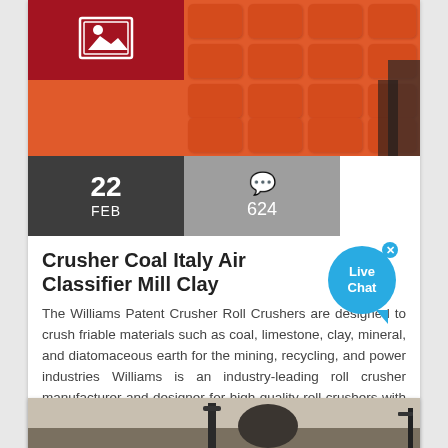[Figure (photo): Orange/red industrial crusher grid with machinery in the background. Top image of article card.]
22 FEB
624
Crusher Coal Italy Air Classifier Mill Clay
The Williams Patent Crusher Roll Crushers are designed to crush friable materials such as coal, limestone, clay, mineral, and diatomaceous earth for the mining, recycling, and power industries Williams is an industry-leading roll crusher manufacturer and designer for high-quality roll crushers with desirable benefits such as high.
[Figure (other): Live Chat bubble overlay — blue circular chat button with 'Live Chat' text and close X]
CONTACT US
[Figure (photo): Partial image of industrial machinery / equipment, bottom card.]